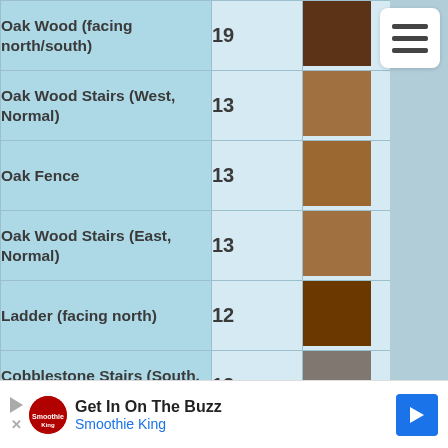| Name | Count | Color |
| --- | --- | --- |
| Oak Wood (facing north/south) | 19 | brown-dark |
| Oak Wood Stairs (West, Normal) | 13 | brown-medium |
| Oak Fence | 13 | brown-medium |
| Oak Wood Stairs (East, Normal) | 13 | brown-medium |
| Ladder (facing north) | 12 | brown-dark2 |
| Cobblestone Stairs (South, Normal) | 12 | gray |
| Red Wool | 11 | red |
| Cobblestone Stairs (East, Normal) | 10 | gray |
| Cobblestone Stairs (North, Normal) | 10 | gray |
Get In On The Buzz — Smoothie King